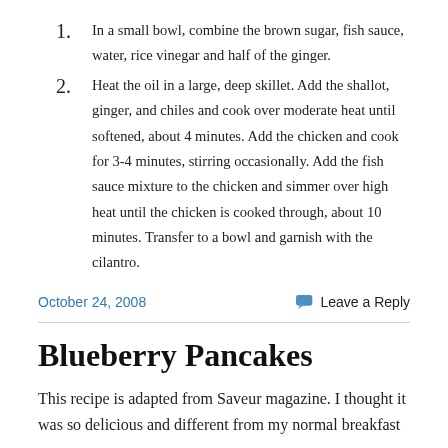1. In a small bowl, combine the brown sugar, fish sauce, water, rice vinegar and half of the ginger.
2. Heat the oil in a large, deep skillet. Add the shallot, ginger, and chiles and cook over moderate heat until softened, about 4 minutes. Add the chicken and cook for 3-4 minutes, stirring occasionally. Add the fish sauce mixture to the chicken and simmer over high heat until the chicken is cooked through, about 10 minutes. Transfer to a bowl and garnish with the cilantro.
October 24, 2008
Leave a Reply
Blueberry Pancakes
This recipe is adapted from Saveur magazine. I thought it was so delicious and different from my normal breakfast